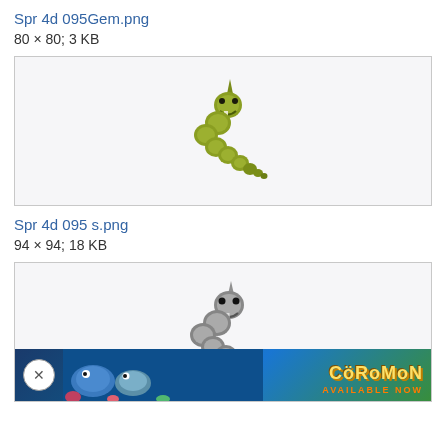Spr 4d 095Gem.png
80 × 80; 3 KB
[Figure (illustration): Green pixel art sprite of Onix (Pokémon #095) in a light gray bordered box]
Spr 4d 095 s.png
94 × 94; 18 KB
[Figure (illustration): Gray/shiny pixel art sprite of Onix (Pokémon #095) in a light gray bordered box, with a Coromon game advertisement banner overlaid at the bottom]